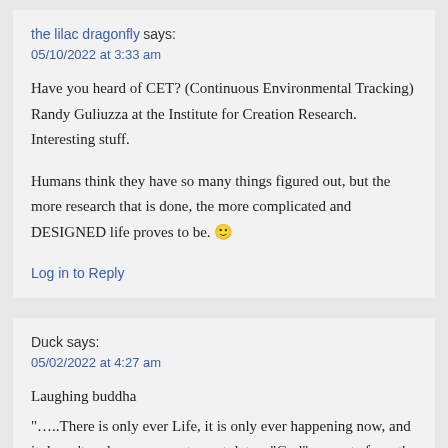the lilac dragonfly says:
05/10/2022 at 3:33 am
Have you heard of CET? (Continuous Environmental Tracking) Randy Guliuzza at the Institute for Creation Research. Interesting stuff.
Humans think they have so many things figured out, but the more research that is done, the more complicated and DESIGNED life proves to be. 🙂
Log in to Reply
Duck says:
05/02/2022 at 4:27 am
Laughing buddha
“…..There is only ever Life, it is only ever happening now, and it doesn’t make any sense to postulate a “God” separate from the process of Life itself, because that would literally put